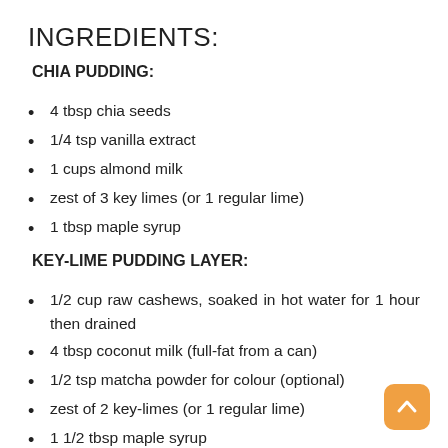INGREDIENTS:
CHIA PUDDING:
4 tbsp chia seeds
1/4 tsp vanilla extract
1 cups almond milk
zest of 3 key limes (or 1 regular lime)
1 tbsp maple syrup
KEY-LIME PUDDING LAYER:
1/2 cup raw cashews, soaked in hot water for 1 hour then drained
4 tbsp coconut milk (full-fat from a can)
1/2 tsp matcha powder for colour (optional)
zest of 2 key-limes (or 1 regular lime)
1 1/2 tbsp maple syrup